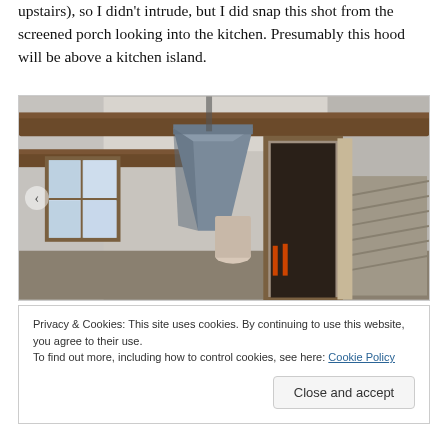upstairs), so I didn't intrude, but I did snap this shot from the screened porch looking into the kitchen. Presumably this hood will be above a kitchen island.
[Figure (photo): Interior construction photo showing a kitchen under renovation with exposed wooden ceiling beams, a large metal range hood in progress, windows, construction equipment and tools on the floor, and an open doorway with stairs visible.]
Privacy & Cookies: This site uses cookies. By continuing to use this website, you agree to their use. To find out more, including how to control cookies, see here: Cookie Policy